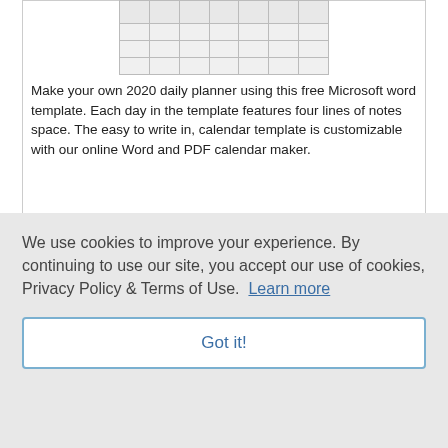[Figure (table-as-image): Mini preview of a daily planner table template with rows and columns]
Make your own 2020 daily planner using this free Microsoft word template. Each day in the template features four lines of notes space. The easy to write in, calendar template is customizable with our online Word and PDF calendar maker.
[Figure (illustration): Colorful decorative flower and butterfly border strip]
We use cookies to improve your experience. By continuing to use our site, you accept our use of cookies, Privacy Policy & Terms of Use.  Learn more
Got it!